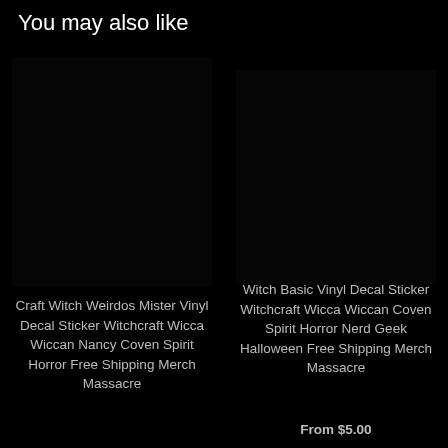You may also like
[Figure (photo): Dark/black product image placeholder for Craft Witch Weirdos Mister vinyl decal sticker]
Craft Witch Weirdos Mister Vinyl Decal Sticker Witchcraft Wicca Wiccan Nancy Coven Spirit Horror Free Shipping Merch Massacre
[Figure (photo): Dark/black product image placeholder for Witch Basic Vinyl Decal Sticker Witchcraft Wicca Wiccan Coven Spirit Horror Nerd Geek Halloween]
Witch Basic Vinyl Decal Sticker Witchcraft Wicca Wiccan Coven Spirit Horror Nerd Geek Halloween Free Shipping Merch Massacre
From $5.00